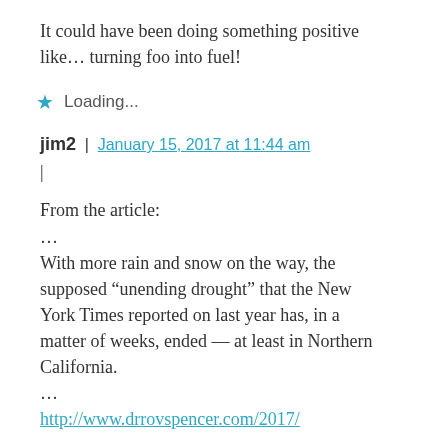It could have been doing something positive like… turning foo into fuel!
Loading...
jim2 | January 15, 2017 at 11:44 am
|
From the article:
…
With more rain and snow on the way, the supposed “unending drought” that the New York Times reported on last year has, in a matter of weeks, ended — at least in Northern California.
…
http://www.drrovspencer.com/2017/